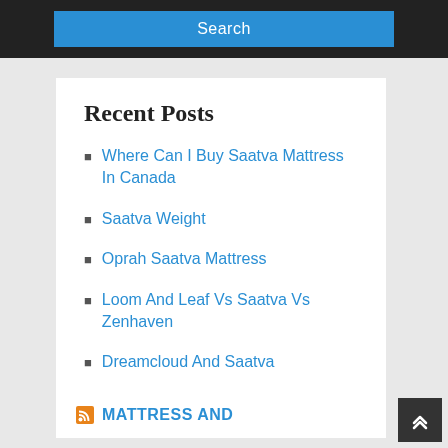Search
Recent Posts
Where Can I Buy Saatva Mattress In Canada
Saatva Weight
Oprah Saatva Mattress
Loom And Leaf Vs Saatva Vs Zenhaven
Dreamcloud And Saatva
MATTRESS AND